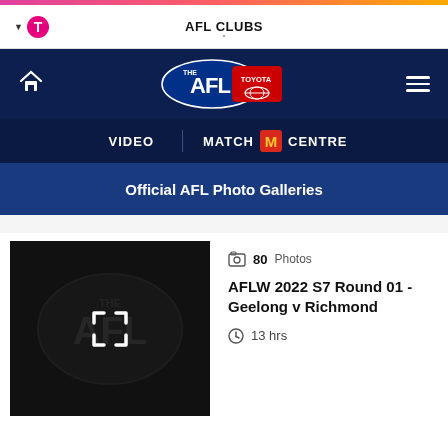AFL CLUBS
[Figure (logo): AFL Toyota official logo with blue oval, red shield and Toyota logo]
VIDEO | MATCH CENTRE
Official AFL Photo Galleries
[Figure (photo): Dark thumbnail with AFL logo watermark and expand icon overlay]
80 Photos
AFLW 2022 S7 Round 01 - Geelong v Richmond
13 hrs